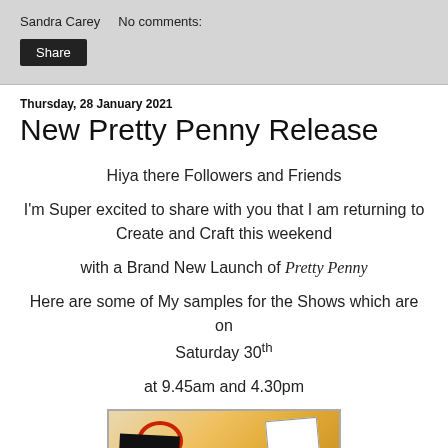Sandra Carey    No comments:
Share
Thursday, 28 January 2021
New Pretty Penny Release
Hiya there Followers and Friends
I'm Super excited to share with you that I am returning to Create and Craft this weekend
with a Brand New Launch of Pretty Penny
Here are some of My samples for the Shows which are on Saturday 30th
at 9.45am and 4.30pm
[Figure (photo): Photo of craft card samples with orange/yellow background, red ribbon loop, and black card]